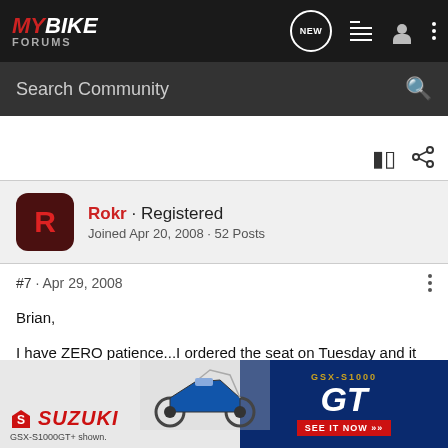MYBIKE FORUMS
Search Community
Rokr · Registered
Joined Apr 20, 2008 · 52 Posts
#7 · Apr 29, 2008
Brian,

I have ZERO patience...I ordered the seat on Tuesday and it was deli[vered to me on] Friday, before this got to Saturda[y. I] [am very pleased with the seat. I] wanted [to say something specific]
[Figure (screenshot): Suzuki GSX-S1000GT advertisement banner showing bike and 'SEE IT NOW' call to action]